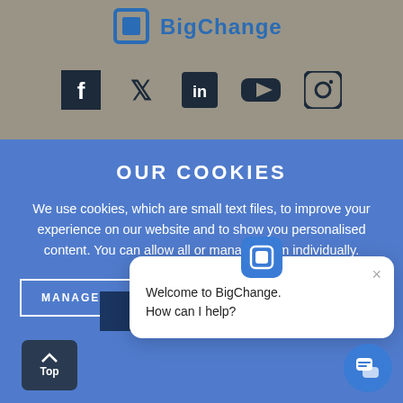[Figure (logo): BigChange logo with square bracket icon and text in teal/dark blue]
[Figure (infographic): Row of social media icons: Facebook, Twitter, LinkedIn, YouTube, Instagram]
OUR COOKIES
We use cookies, which are small text files, to improve your experience on our website and to show you personalised content. You can allow all or manage them individually.
MANAGE COOKIES
FIND OUT MORE
[Figure (screenshot): Chat popup with BigChange icon, close button, and text: Welcome to BigChange. How can I help?]
Welcome to BigChange. How can I help?
Top